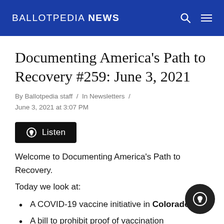BALLOTPEDIA NEWS
Documenting America's Path to Recovery #259: June 3, 2021
By Ballotpedia staff / In Newsletters / June 3, 2021 at 3:07 PM
[Figure (other): Listen button with headphone icon]
Welcome to Documenting America's Path to Recovery. Today we look at:
A COVID-19 vaccine initiative in Colorado
A bill to prohibit proof of vaccination requirements in Michigan